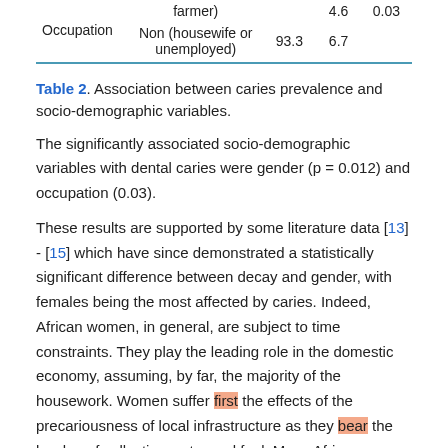|  |  |  |  |
| --- | --- | --- | --- |
| Occupation | Non (housewife or unemployed) | 93.3 | 6.7 |
|  |  | 4.6 | 0.03 |
Table 2. Association between caries prevalence and socio-demographic variables.
The significantly associated socio-demographic variables with dental caries were gender (p = 0.012) and occupation (0.03).
These results are supported by some literature data [13] - [15] which have since demonstrated a statistically significant difference between decay and gender, with females being the most affected by caries. Indeed, African women, in general, are subject to time constraints. They play the leading role in the domestic economy, assuming, by far, the majority of the housework. Women suffer first the effects of the precariousness of local infrastructure as they bear the burden of collecting water and fuel. Many African women face a